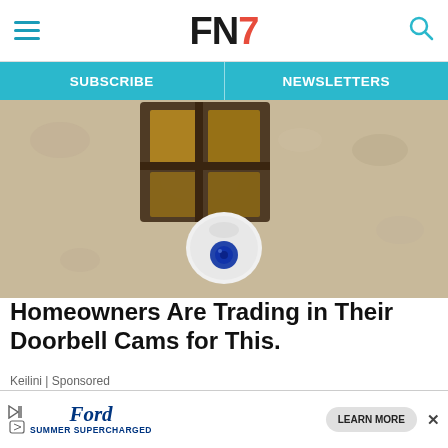FN7 - navigation header with hamburger menu, logo FN7, and search icon
SUBSCRIBE | NEWSLETTERS
[Figure (photo): Close-up photo of a white outdoor security camera mounted near a wall lantern on a stucco wall]
Homeowners Are Trading in Their Doorbell Cams for This.
Keilini | Sponsored
[Figure (photo): Partial image of blue textured material, beginning of a second article or advertisement image]
Ford SUMMER SUPERCHARGED - LEARN MORE advertisement banner